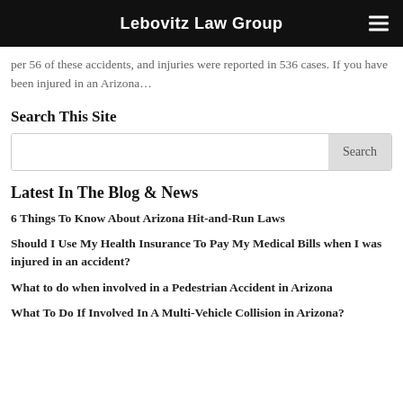Lebovitz Law Group
per 56 of these accidents, and injuries were reported in 536 cases. If you have been injured in an Arizona…
Search This Site
Latest In The Blog & News
6 Things To Know About Arizona Hit-and-Run Laws
Should I Use My Health Insurance To Pay My Medical Bills when I was injured in an accident?
What to do when involved in a Pedestrian Accident in Arizona
What To Do If Involved In A Multi-Vehicle Collision in Arizona?